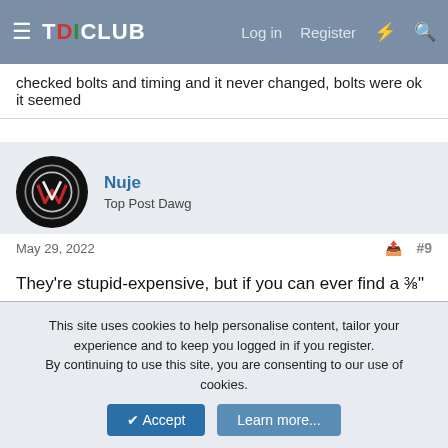TDICLUB | Log in | Register
checked bolts and timing and it never changed, bolts were ok it seemed
Nuje
Top Post Dawg
May 29, 2022  #9
They're stupid-expensive, but if you can ever find a ⅜" Snap-on electronic torque wrench on FB or CL or kijiji, find the money - your future self will thank you many times over.
PakProtector
Veteran Member
This site uses cookies to help personalise content, tailor your experience and to keep you logged in if you register.
By continuing to use this site, you are consenting to our use of cookies.